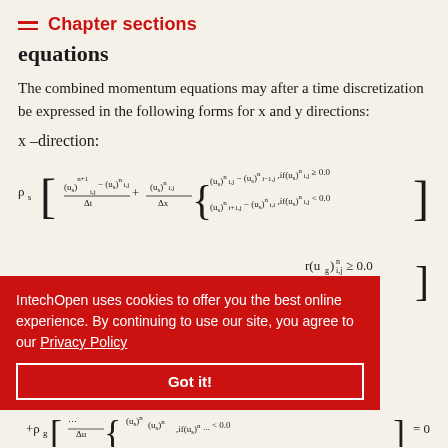Chapter sections
equations
The combined momentum equations may after a time discretization be expressed in the following forms for x and y directions:
x–direction: